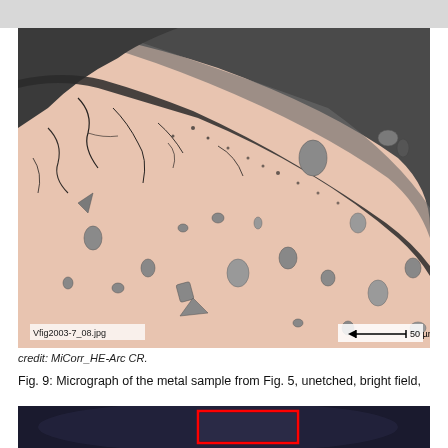[Figure (photo): Micrograph of a metal sample cross-section showing a curved dark oxide/corrosion layer on the upper-left transitioning to a pinkish metallic interior with scattered dark inclusions and voids. Scale bar shows 50 µm. File label 'Vfig2003-7_08.jpg' visible in lower-left corner.]
credit: MiCorr_HE-Arc CR.
Fig. 9: Micrograph of the metal sample from Fig. 5, unetched, bright field,
[Figure (photo): Partial view of another micrograph (bottom of page, cut off), dark background with a red rectangular overlay visible.]